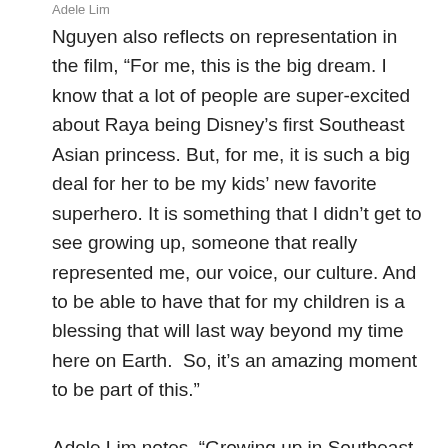Adele Lim
Nguyen also reflects on representation in the film, “For me, this is the big dream. I know that a lot of people are super-excited about Raya being Disney’s first Southeast Asian princess. But, for me, it is such a big deal for her to be my kids’ new favorite superhero. It is something that I didn’t get to see growing up, someone that really represented me, our voice, our culture. And to be able to have that for my children is a blessing that will last way beyond my time here on Earth.  So, it’s an amazing moment to be part of this.”
Adele Lim notes, “Growing up in Southeast Asia, we’re very proud of our culture and our history. But you don’t really ever see it on a Hollywood big screen. I had lots of action heroes on screen growing up, but it was often Hong Kong action kung fu. And now, the idea to be part of a Disney movie that really can celebrate everything